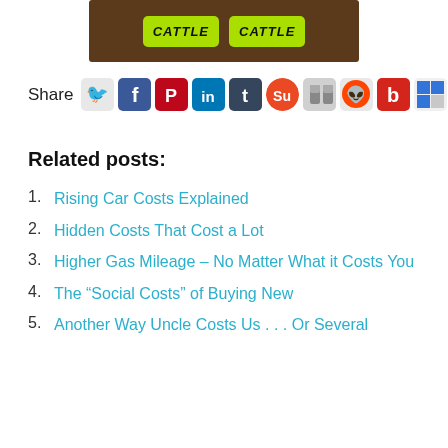[Figure (photo): Two green cards labeled CATTLE on a brown wooden surface]
[Figure (infographic): Social media share icons row including Twitter, Facebook, Pinterest, LinkedIn, Tumblr, StumbleUpon, and others]
Related posts:
Rising Car Costs Explained
Hidden Costs That Cost a Lot
Higher Gas Mileage – No Matter What it Costs You
The “Social Costs” of Buying New
Another Way Uncle Costs Us . . . Or Several